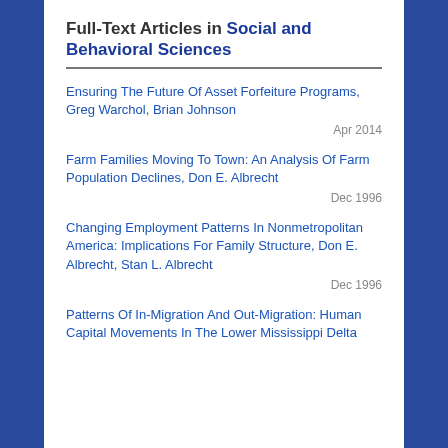Full-Text Articles in Social and Behavioral Sciences
Ensuring The Future Of Asset Forfeiture Programs, Greg Warchol, Brian Johnson
Apr 2014
Farm Families Moving To Town: An Analysis Of Farm Population Declines, Don E. Albrecht
Dec 1996
Changing Employment Patterns In Nonmetropolitan America: Implications For Family Structure, Don E. Albrecht, Stan L. Albrecht
Dec 1996
Patterns Of In-Migration And Out-Migration: Human Capital Movements In The Lower Mississippi Delta